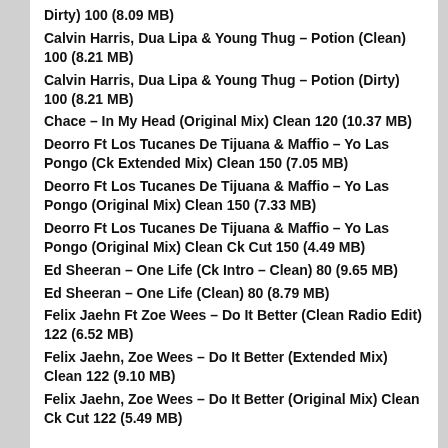Dirty) 100 (8.09 MB)
Calvin Harris, Dua Lipa & Young Thug – Potion (Clean) 100 (8.21 MB)
Calvin Harris, Dua Lipa & Young Thug – Potion (Dirty) 100 (8.21 MB)
Chace – In My Head (Original Mix) Clean 120 (10.37 MB)
Deorro Ft Los Tucanes De Tijuana & Maffio – Yo Las Pongo (Ck Extended Mix) Clean 150 (7.05 MB)
Deorro Ft Los Tucanes De Tijuana & Maffio – Yo Las Pongo (Original Mix) Clean 150 (7.33 MB)
Deorro Ft Los Tucanes De Tijuana & Maffio – Yo Las Pongo (Original Mix) Clean Ck Cut 150 (4.49 MB)
Ed Sheeran – One Life (Ck Intro – Clean) 80 (9.65 MB)
Ed Sheeran – One Life (Clean) 80 (8.79 MB)
Felix Jaehn Ft Zoe Wees – Do It Better (Clean Radio Edit) 122 (6.52 MB)
Felix Jaehn, Zoe Wees – Do It Better (Extended Mix) Clean 122 (9.10 MB)
Felix Jaehn, Zoe Wees – Do It Better (Original Mix) Clean Ck Cut 122 (5.49 MB)